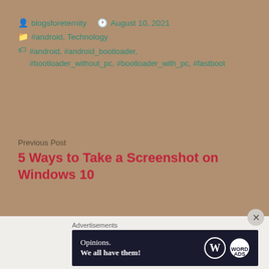blogsforeternity  August 10, 2021
#android, Technology
#android, #android_bootloader, #bootloader_without_pc, #bootloader_with_pc, #fastboot
Previous Post
5 Ways to Take a Screenshot on Windows 10
Advertisements
[Figure (screenshot): WordPress advertisement banner: 'Opinions. We all have them!' with WordPress and blog logos on dark background]